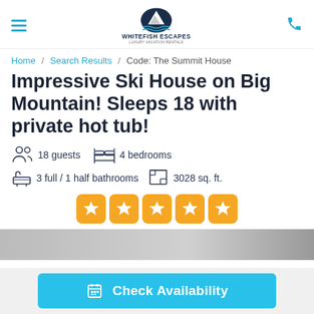Whitefish Escapes – Luxury Vacation Rentals
Home / Search Results / Code: The Summit House
Impressive Ski House on Big Mountain! Sleeps 18 with private hot tub!
18 guests   4 bedrooms   3 full / 1 half bathrooms   3028 sq. ft.
[Figure (other): Five orange star rating badges in a row]
[Figure (photo): Partial view of property interior/exterior photo strip]
Check Availability